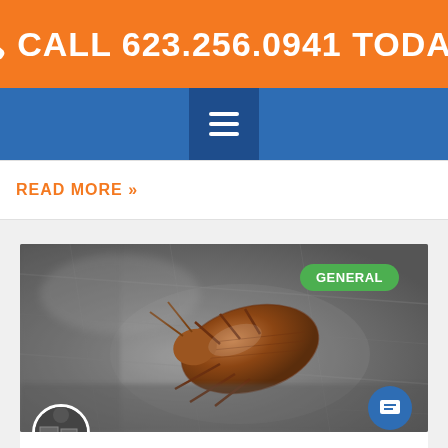CALL 623.256.0941 TODAY!
READ MORE »
[Figure (photo): Close-up macro photograph of a bed bug on grey fabric/carpet material, with a green GENERAL badge overlay in the top right corner]